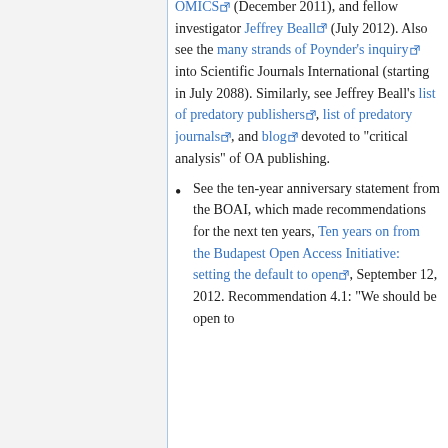OMICS (December 2011), and fellow investigator Jeffrey Beall (July 2012). Also see the many strands of Poynder's inquiry into Scientific Journals International (starting in July 2088). Similarly, see Jeffrey Beall's list of predatory publishers, list of predatory journals, and blog devoted to "critical analysis" of OA publishing.
See the ten-year anniversary statement from the BOAI, which made recommendations for the next ten years, Ten years on from the Budapest Open Access Initiative: setting the default to open, September 12, 2012. Recommendation 4.1: "We should...